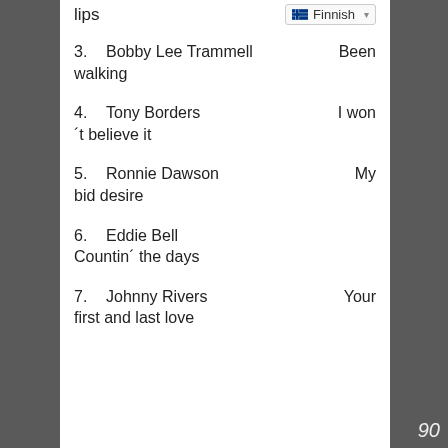lips
Finnish (language selector)
3.   Bobby Lee Trammell   Been walking
4.   Tony Borders   I won´t believe it
5.   Ronnie Dawson   My bid desire
6.   Eddie Bell   Countin´ the days
7.   Johnny Rivers   Your first and last love